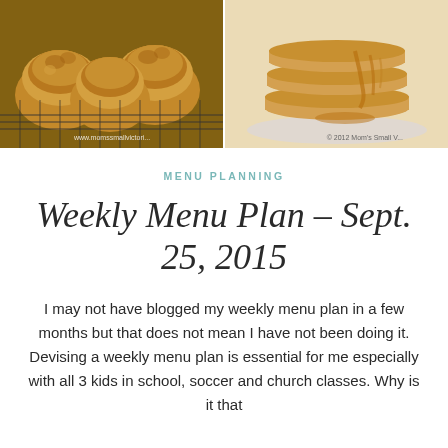[Figure (photo): Two food photos side by side: left shows baked muffins on a cooling rack with watermark www.momssmallvictori..., right shows a stack of pancakes with syrup with watermark © 2012 Mom's Small V...]
MENU PLANNING
Weekly Menu Plan – Sept. 25, 2015
I may not have blogged my weekly menu plan in a few months but that does not mean I have not been doing it. Devising a weekly menu plan is essential for me especially with all 3 kids in school, soccer and church classes. Why is it that